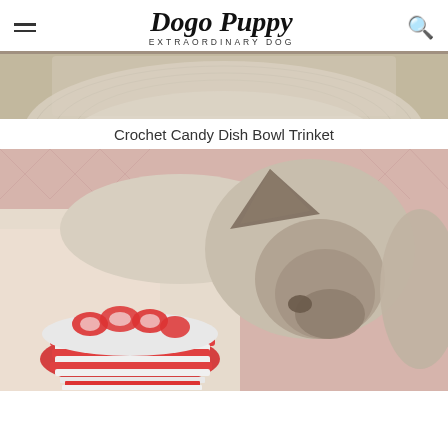Dogo Puppy — EXTRAORDINARY DOG
[Figure (photo): Top partial image showing a crochet candy dish bowl, cream/beige textured fabric background visible]
Crochet Candy Dish Bowl Trinket
[Figure (photo): A light-colored dog (possibly Siamese or similar breed) sniffing or playing with a red and white crocheted candy dish bowl toy, lying on a pink quilted blanket]